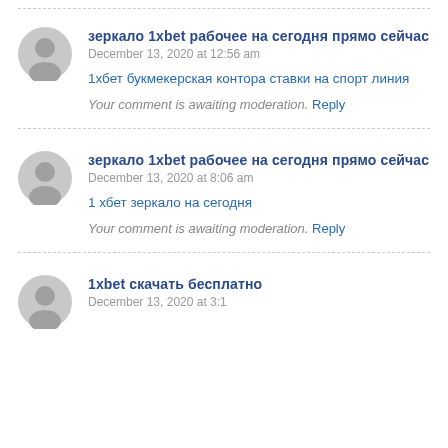зеркало 1xbet рабочее на сегодня прямо сейчас
December 13, 2020 at 12:56 am
1хбет букмекерская контора ставки на спорт линия
Your comment is awaiting moderation. Reply
зеркало 1xbet рабочее на сегодня прямо сейчас
December 13, 2020 at 8:06 am
1 хбет зеркало на сегодня
Your comment is awaiting moderation. Reply
1xbet скачать бесплатно
December 13, 2020 at ...